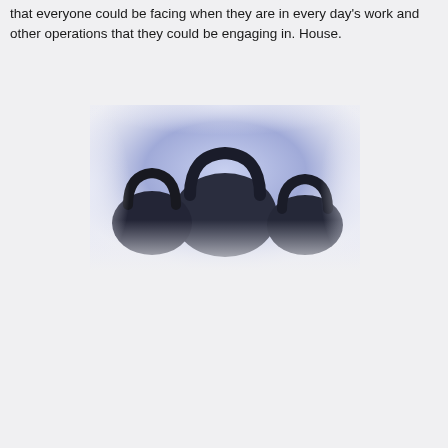that everyone could be facing when they are in every day's work and other operations that they could be engaging in. House.
[Figure (photo): Close-up photograph of dark-colored kettle bells or similar rounded weight equipment, with a soft blurred/glowing bluish-white background, taken from above.]